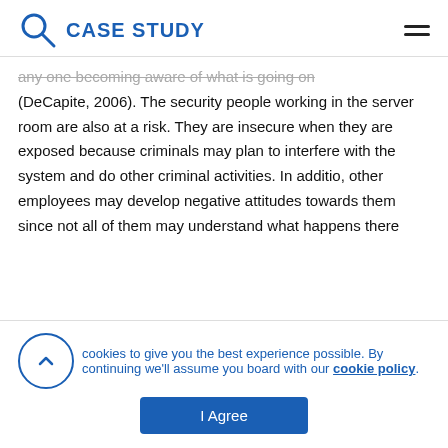CASE STUDY
any one becoming aware of what is going on (DeCapite, 2006). The security people working in the server room are also at a risk. They are insecure when they are exposed because criminals may plan to interfere with the system and do other criminal activities. In additio, other employees may develop negative attitudes towards them since not all of them may understand what happens there
We use cookies to give you the best experience possible. By continuing we'll assume you board with our cookie policy. I Agree